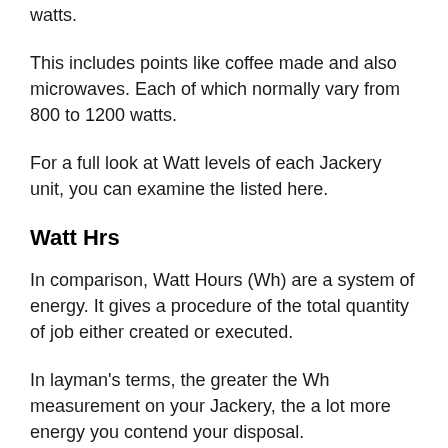watts.
This includes points like coffee made and also microwaves. Each of which normally vary from 800 to 1200 watts.
For a full look at Watt levels of each Jackery unit, you can examine the listed here.
Watt Hrs
In comparison, Watt Hours (Wh) are a system of energy. It gives a procedure of the total quantity of job either created or executed.
In layman's terms, the greater the Wh measurement on your Jackery, the a lot more energy you contend your disposal.